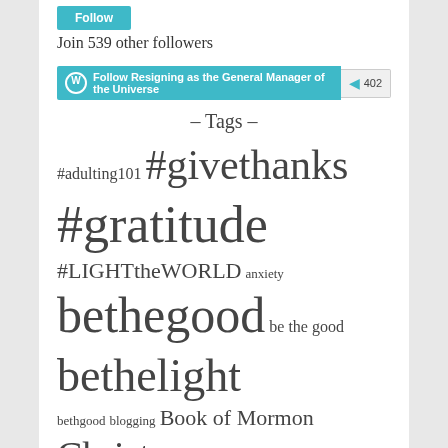[Figure (other): Teal/cyan Follow button (partial, cropped at top)]
Join 539 other followers
[Figure (other): WordPress Follow bar: 'Follow Resigning as the General Manager of the Universe' with count badge 402]
– Tags –
#adulting101 #givethanks #gratitude #LIGHTtheWORLD anxiety bethegood be the good bethelight bethgood blogging Book of Mormon Christ Christlike Christmas dance eating healthy eatlikeabear Eat to Live education faith family family fun family history feature freedom grand-